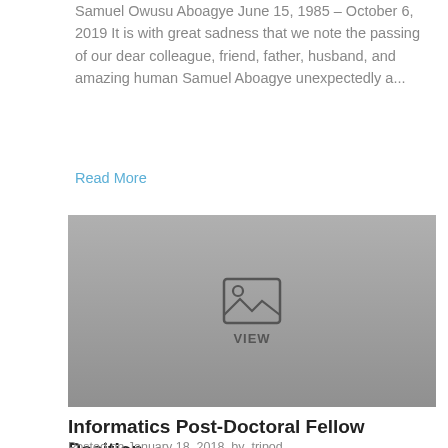Samuel Owusu Aboagye June 15, 1985 – October 6, 2019 It is with great sadness that we note the passing of our dear colleague, friend, father, husband, and amazing human Samuel Aboagye unexpectedly a...
Read More
[Figure (photo): Placeholder image with a picture icon and the text VIEW centered on a gray gradient background]
Informatics Post-Doctoral Fellow Position
Posted on January 18, 2018  by  tripod